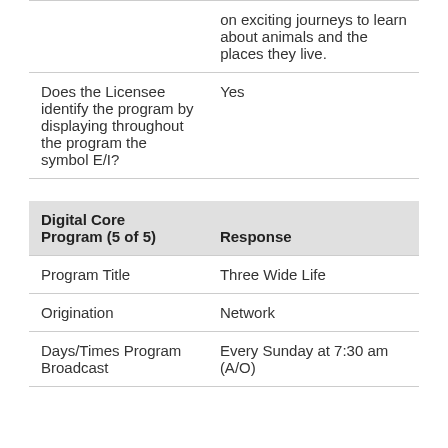|  |  |
| --- | --- |
|  | on exciting journeys to learn about animals and the places they live. |
| Does the Licensee identify the program by displaying throughout the program the symbol E/I? | Yes |
| Digital Core Program (5 of 5) | Response |
| --- | --- |
| Program Title | Three Wide Life |
| Origination | Network |
| Days/Times Program Broadcast | Every Sunday at 7:30 am (A/O) |